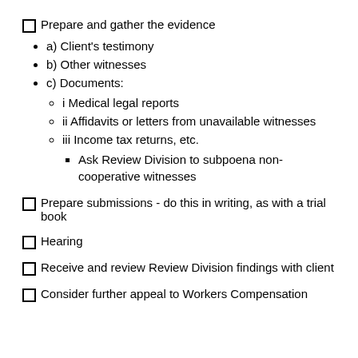Prepare and gather the evidence
a) Client's testimony
b) Other witnesses
c) Documents:
i Medical legal reports
ii Affidavits or letters from unavailable witnesses
iii Income tax returns, etc.
Ask Review Division to subpoena non-cooperative witnesses
Prepare submissions - do this in writing, as with a trial book
Hearing
Receive and review Review Division findings with client
Consider further appeal to Workers Compensation